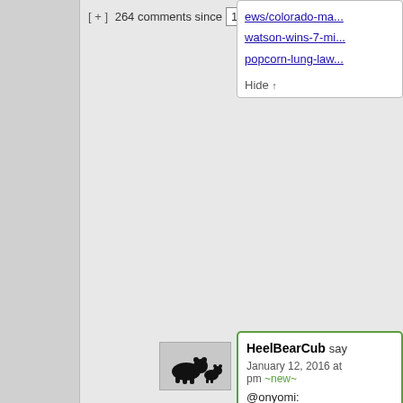[ + ]  264 comments since  1970-01-01 00:0(
ews/colorado-ma...
watson-wins-7-mi...
popcorn-lung-law...
Hide ↑
[Figure (illustration): Small black silhouette of a bear and cub on a gray background]
HeelBearCub says January 12, 2016 at pm ~new~
@onyomi:
Allow me to quote the article you link "Popcorn lung" re potentially fatal re disease that most develops in worke flavoring plants w...